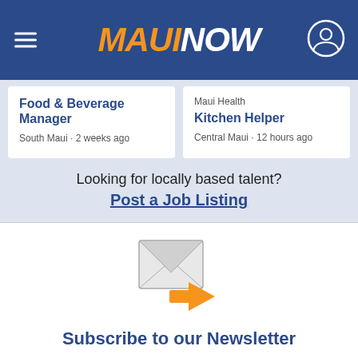MAUI NOW
Food & Beverage Manager
South Maui · 2 weeks ago
Maui Health
Kitchen Helper
Central Maui · 12 hours ago
Looking for locally based talent?
Post a Job Listing
[Figure (illustration): Email envelope icon with orange arrow pointing right, representing newsletter subscription]
Subscribe to our Newsletter
Stay in-the-know with daily or weekly headlines delivered straight to your inbox.
Your E-Mail Address
Subscri...
Back to Top